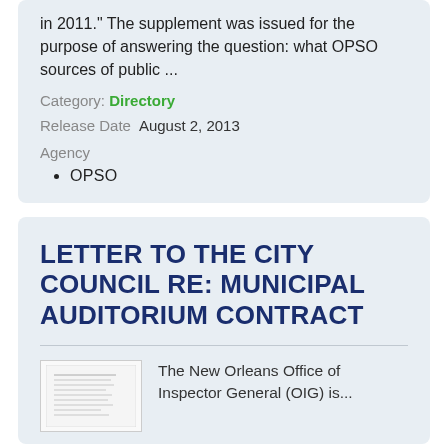in 2011." The supplement was issued for the purpose of answering the question: what OPSO sources of public ...
Category: Directory
Release Date   August 2, 2013
Agency
OPSO
LETTER TO THE CITY COUNCIL RE: MUNICIPAL AUDITORIUM CONTRACT
The New Orleans Office of Inspector General (OIG) is...